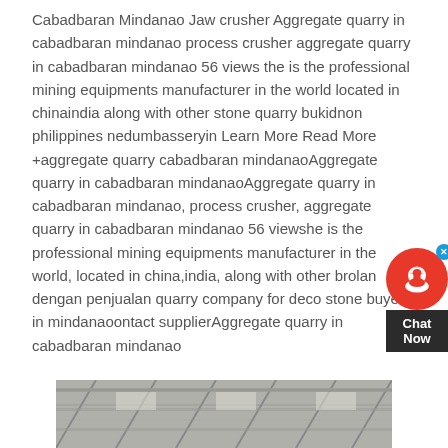Cabadbaran Mindanao Jaw crusher Aggregate quarry in cabadbaran mindanao process crusher aggregate quarry in cabadbaran mindanao 56 views the is the professional mining equipments manufacturer in the world located in chinaindia along with other stone quarry bukidnon philippines nedumbasseryin Learn More Read More +aggregate quarry cabadbaran mindanaoAggregate quarry in cabadbaran mindanaoAggregate quarry in cabadbaran mindanao, process crusher, aggregate quarry in cabadbaran mindanao 56 viewshe is the professional mining equipments manufacturer in the world, located in china,india, along with other brolan dengan penjualan quarry company for deco stone buyer in mindanaoontact supplierAggregate quarry in cabadbaran mindanao
[Figure (photo): Partial view of what appears to be an interior industrial or warehouse structure showing roof beams and ceiling.]